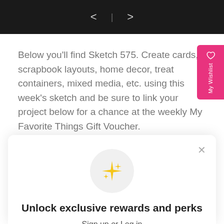< | >
Below you'll find Sketch 575. Create cards, scrapbook layouts, home decor, treat containers, mixed media, etc. using this week's sketch and be sure to link your project below for a chance at the weekly My Favorite Things Gift Voucher.
[Figure (screenshot): Modal popup with sparkle icon, title 'Unlock exclusive rewards and perks', subtitle 'Sign up or Log in', teal Sign up button, and 'Already have an account? Sign in' link]
Unlock exclusive rewards and perks
Sign up or Log in
Sign up
Already have an account? Sign in